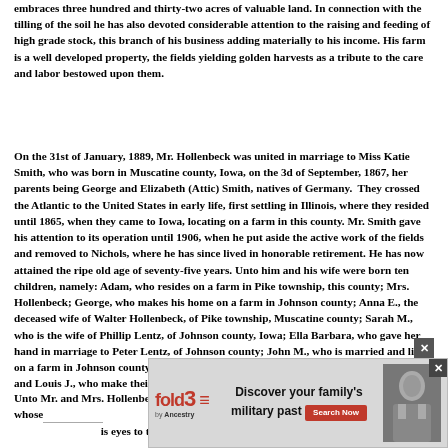embraces three hundred and thirty-two acres of valuable land. In connection with the tilling of the soil he has also devoted considerable attention to the raising and feeding of high grade stock, this branch of his business adding materially to his income. His farm is a well developed property, the fields yielding golden harvests as a tribute to the care and labor bestowed upon them.
On the 31st of January, 1889, Mr. Hollenbeck was united in marriage to Miss Katie Smith, who was born in Muscatine county, Iowa, on the 3d of September, 1867, her parents being George and Elizabeth (Attic) Smith, natives of Germany. They crossed the Atlantic to the United States in early life, first settling in Illinois, where they resided until 1865, when they came to Iowa, locating on a farm in this county. Mr. Smith gave his attention to its operation until 1906, when he put aside the active work of the fields and removed to Nichols, where he has since lived in honorable retirement. He has now attained the ripe old age of seventy-five years. Unto him and his wife were born ten children, namely: Adam, who resides on a farm in Pike township, this county; Mrs. Hollenbeck; George, who makes his home on a farm in Johnson county; Anna E., the deceased wife of Walter Hollenbeck, of Pike township, Muscatine county; Sarah M., who is the wife of Phillip Lentz, of Johnson county, Iowa; Ella Barbara, who gave her hand in marriage to Peter Lentz, of Johnson county; John M., who is married and lives on a farm in Johnson county; William, who died when eighteen months old; Nicholas G. and Louis J., who make their home on a farm in Muscatine county.
Unto Mr. and Mrs. Hollenbeck have been born six children, as follows: Rose May, whose... 1891; Lilly Ann, w... is eyes to the light...
[Figure (other): Fold3 advertisement overlay with logo, text 'Discover your family's military past', Search Now button, and a historical military photo. Has a close (x) button.]